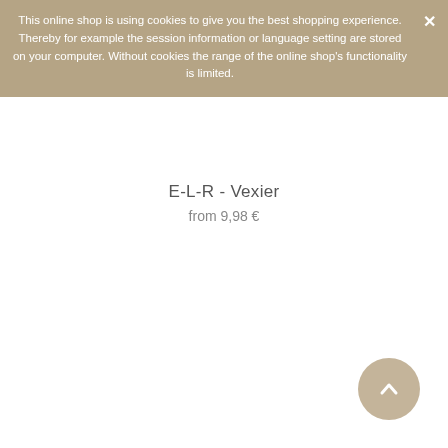This online shop is using cookies to give you the best shopping experience. Thereby for example the session information or language setting are stored on your computer. Without cookies the range of the online shop's functionality is limited.
E-L-R - Vexier
from 9,98 €